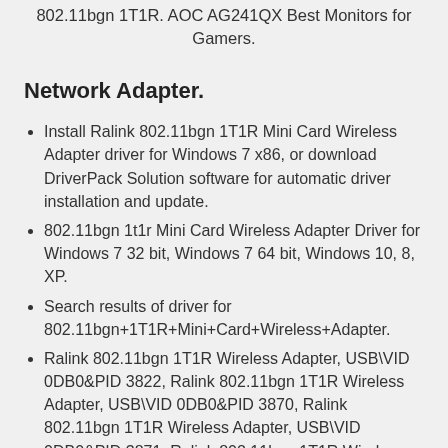802.11bgn 1T1R. AOC AG241QX Best Monitors for Gamers.
Network Adapter.
Install Ralink 802.11bgn 1T1R Mini Card Wireless Adapter driver for Windows 7 x86, or download DriverPack Solution software for automatic driver installation and update.
802.11bgn 1t1r Mini Card Wireless Adapter Driver for Windows 7 32 bit, Windows 7 64 bit, Windows 10, 8, XP.
Search results of driver for 802.11bgn+1T1R+Mini+Card+Wireless+Adapter.
Ralink 802.11bgn 1T1R Wireless Adapter, USB\VID 0DB0&PID 3822, Ralink 802.11bgn 1T1R Wireless Adapter, USB\VID 0DB0&PID 3870, Ralink 802.11bgn 1T1R Wireless Adapter, USB\VID 0DB0&PID 3871, Ralink 802.11bgn 1T1R Wireless Adapter, USB\VID 0DB0&PID 6899, Micro Star International 802.11bgn